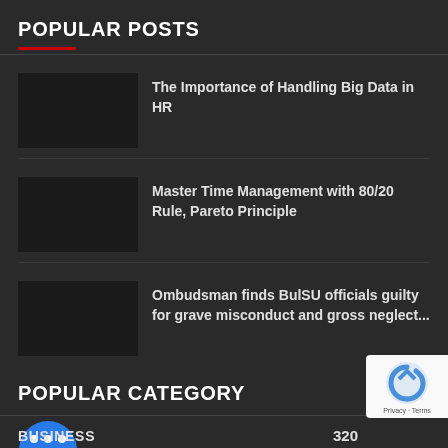POPULAR POSTS
The Importance of Handling Big Data in HR
Master Time Management with 80/20 Rule, Pareto Principle
Ombudsman finds BulSU officials guilty for grave misconduct and gross neglect...
POPULAR CATEGORY
BUSINESS
320
[Figure (logo): reCAPTCHA badge with Privacy and Terms text]